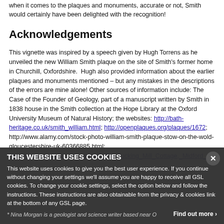when it comes to the plaques and monuments, accurate or not, Smith would certainly have been delighted with the recognition!
Acknowledgements
This vignette was inspired by a speech given by Hugh Torrens as he unveiled the new William Smith plaque on the site of Smith's former home in Churchill, Oxfordshire. Hugh also provided information about the earlier plaques and monuments mentioned – but any mistakes in the descriptions of the errors are mine alone! Other sources of information include: The Case of the Founder of Geology, part of a manuscript written by Smith in 1838 house in the Smith collection at the Hope Library at the Oxford University Museum of Natural History; the websites: http://bath-heritage.co.uk/smith_william.html; http://openplaques.org/plaques/1672; http://www.alamy.com/stock-photo-william-smith-plaque-stow-on-the-wold-gloucestershire-uk-60366885.html; http://commons.wikimedia.org/wiki/File:Tucking_Mill_Cottage,_Midford_...
THIS WEBSITE USES COOKIES
This website uses cookies to give you the best user experience. If you continue without changing your settings we'll assume you are happy to receive all GSL cookies. To change your cookie settings, select the option below and follow the instructions. These instructions are also obtainable from the privacy & cookies link at the bottom of any GSL page.
* Nina Morgan is a geologist and science writer based near O...
Find out more